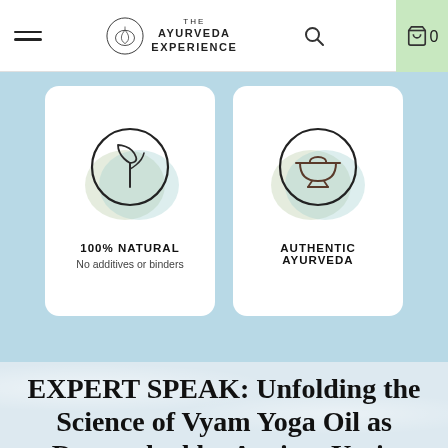The Ayurveda Experience — navigation bar with hamburger menu, logo, search, and cart (0 items)
[Figure (illustration): Two feature cards on a light blue background. Left card shows a leaf/plant icon in a circle with text '100% NATURAL — No additives or binders'. Right card shows a mortar-and-pestle bowl icon in a circle with text 'AUTHENTIC AYURVEDA'.]
EXPERT SPEAK: Unfolding the Science of Vyam Yoga Oil as Researched by Ancient Yogic Physicians & Unearthed by iYURA Experts
Vyam Yoga Oil gets its name from 'Vya-yam' - the